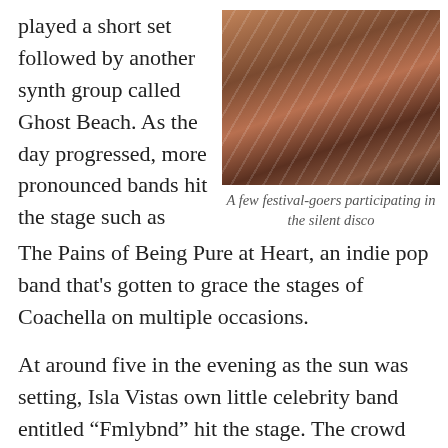played a short set followed by another synth group called Ghost Beach. As the day progressed, more pronounced bands hit the stage such as The Pains of Being Pure at Heart, an indie pop band that's gotten to grace the stages of Coachella on multiple occasions.
[Figure (photo): A photo of festival-goers' legs on steps, taken at a music festival, with warm sunset lighting.]
A few festival-goers participating in the silent disco
At around five in the evening as the sun was setting, Isla Vistas own little celebrity band entitled “Fmlybnd” hit the stage. The crowd was almost triple the size it had been before. Everyone was cheering, dancing, and singing a